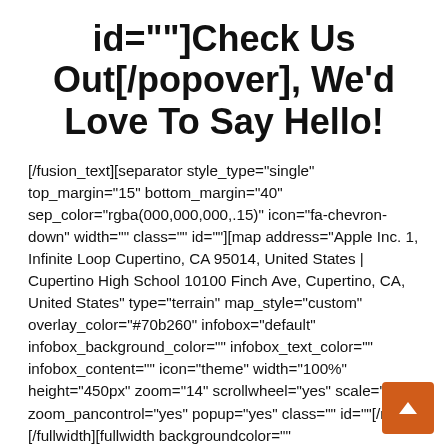id=""]Check Us Out[/popover], We'd Love To Say Hello!
[/fusion_text][separator style_type="single" top_margin="15" bottom_margin="40" sep_color="rgba(000,000,000,.15)" icon="fa-chevron-down" width="" class="" id=""][map address="Apple Inc. 1, Infinite Loop Cupertino, CA 95014, United States | Cupertino High School 10100 Finch Ave, Cupertino, CA, United States" type="terrain" map_style="custom" overlay_color="#70b260" infobox="default" infobox_background_color="" infobox_text_color="" infobox_content="" icon="theme" width="100%" height="450px" zoom="14" scrollwheel="yes" scale="yes" zoom_pancontrol="yes" popup="yes" class="" id=""[/map][/fullwidth][fullwidth backgroundcolor=""